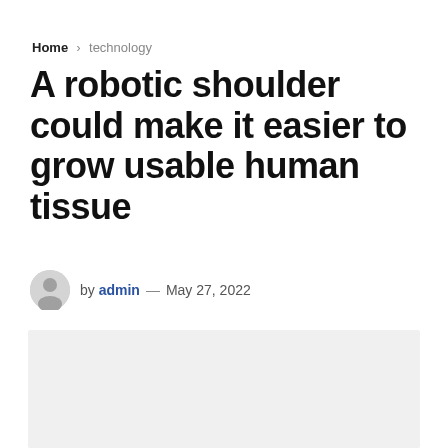Home > technology
A robotic shoulder could make it easier to grow usable human tissue
by admin — May 27, 2022
[Figure (photo): Light gray placeholder image area below the article byline]